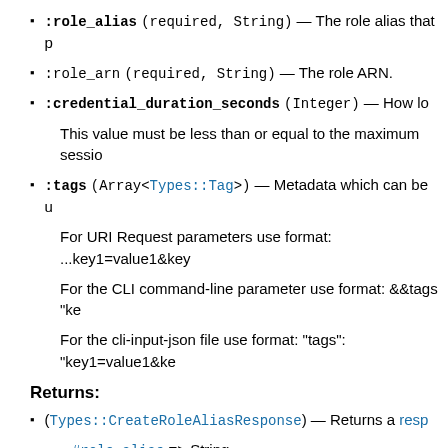:role_alias (required, String) — The role alias that p
:role_arn (required, String) — The role ARN.
:credential_duration_seconds (Integer) — How lo
This value must be less than or equal to the maximum sessio
:tags (Array<Types::Tag>) — Metadata which can be u
For URI Request parameters use format: ...key1=value1&key
For the CLI command-line parameter use format: &&tags "ke
For the cli-input-json file use format: "tags": "key1=value1&ke
Returns:
(Types::CreateRoleAliasResponse) — Returns a respo
#role_alias => String
#role_alias_arn => String
[View source]